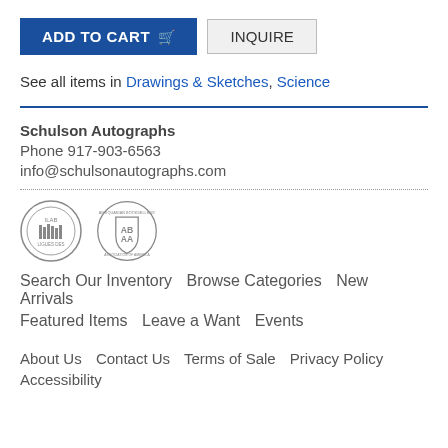ADD TO CART | INQUIRE (buttons)
See all items in Drawings & Sketches, Science
Schulson Autographs
Phone 917-903-6563
info@schulsonautographs.com
[Figure (logo): Two circular/shield logos: ILAB and ABAA booksellers associations]
Search Our Inventory   Browse Categories   New Arrivals
Featured Items   Leave a Want   Events
About Us   Contact Us   Terms of Sale   Privacy Policy
Accessibility